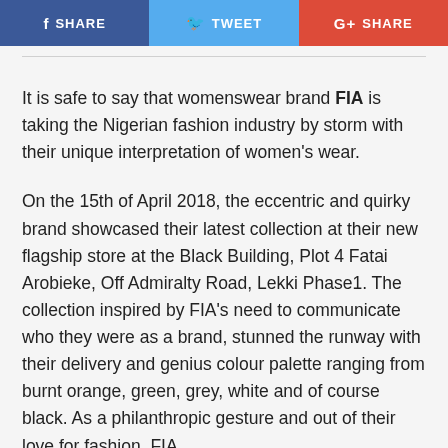[Figure (other): Social sharing buttons: Facebook SHARE (blue), Twitter TWEET (light blue), Google+ SHARE (red)]
It is safe to say that womenswear brand FIA is taking the Nigerian fashion industry by storm with their unique interpretation of women's wear.
On the 15th of April 2018, the eccentric and quirky brand showcased their latest collection at their new flagship store at the Black Building, Plot 4 Fatai Arobieke, Off Admiralty Road, Lekki Phase1. The collection inspired by FIA's need to communicate who they were as a brand, stunned the runway with their delivery and genius colour palette ranging from burnt orange, green, grey, white and of course black. As a philanthropic gesture and out of their love for fashion, FIA